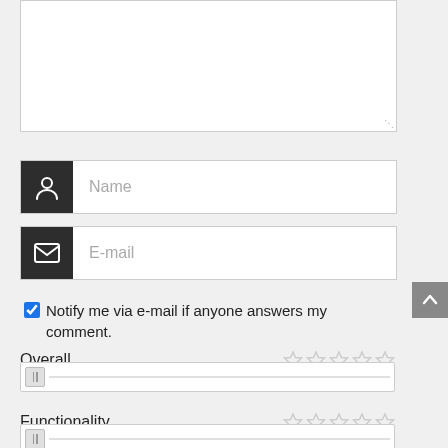[Figure (screenshot): A web comment form showing a textarea, Name input field with person icon, E-mail input field with envelope icon, a checked notification checkbox, and rating sliders for Overall and Functionality with star ratings.]
Name
E-mail
Notify me via e-mail if anyone answers my comment.
Overall
Functionality